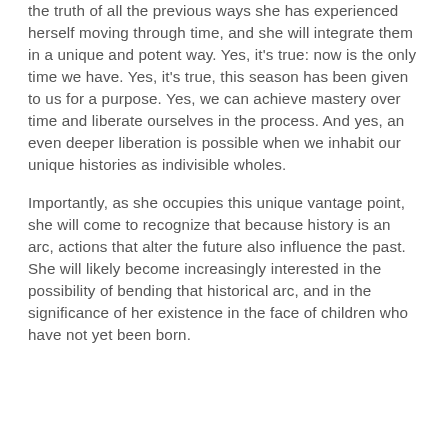the truth of all the previous ways she has experienced herself moving through time, and she will integrate them in a unique and potent way. Yes, it's true: now is the only time we have. Yes, it's true, this season has been given to us for a purpose. Yes, we can achieve mastery over time and liberate ourselves in the process. And yes, an even deeper liberation is possible when we inhabit our unique histories as indivisible wholes.
Importantly, as she occupies this unique vantage point, she will come to recognize that because history is an arc, actions that alter the future also influence the past. She will likely become increasingly interested in the possibility of bending that historical arc, and in the significance of her existence in the face of children who have not yet been born.